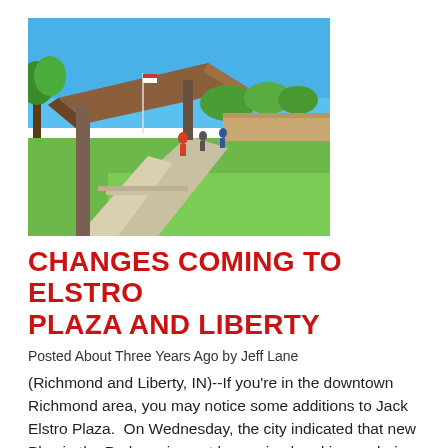[Figure (photo): Outdoor plaza with a modern pavilion structure, green lawn, trees, and people walking around on a sunny day. Brick pathways and a flagpole visible in the background.]
CHANGES COMING TO ELSTRO PLAZA AND LIBERTY
Posted About Three Years Ago by Jeff Lane
(Richmond and Liberty, IN)--If you're in the downtown Richmond area, you may notice some additions to Jack Elstro Plaza.  On Wednesday, the city indicated that new Play in the Park equipment has arrived and is now being installed.  It consists mostly of concrete game tables and other activities like a Foosball table,